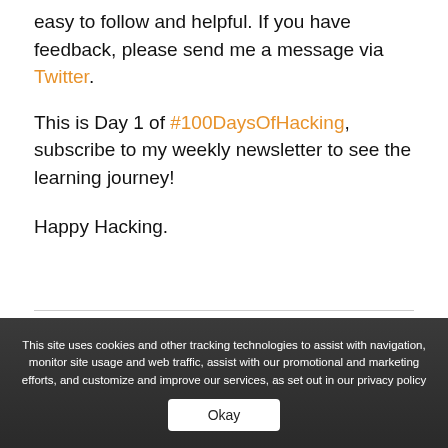easy to follow and helpful. If you have feedback, please send me a message via Twitter.
This is Day 1 of #100DaysOfHacking, subscribe to my weekly newsletter to see the learning journey!
Happy Hacking.
This site uses cookies and other tracking technologies to assist with navigation, monitor site usage and web traffic, assist with our promotional and marketing efforts, and customize and improve our services, as set out in our privacy policy